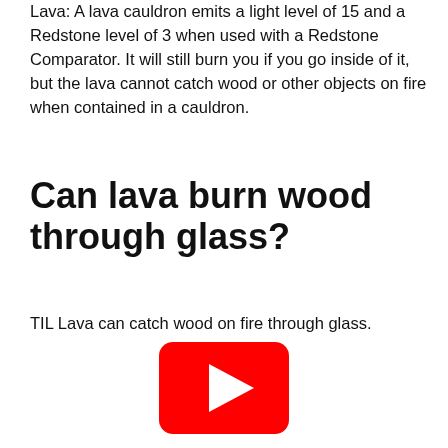Lava: A lava cauldron emits a light level of 15 and a Redstone level of 3 when used with a Redstone Comparator. It will still burn you if you go inside of it, but the lava cannot catch wood or other objects on fire when contained in a cauldron.
Can lava burn wood through glass?
TIL Lava can catch wood on fire through glass.
[Figure (other): YouTube play button logo — red rounded rectangle with white triangle play icon]